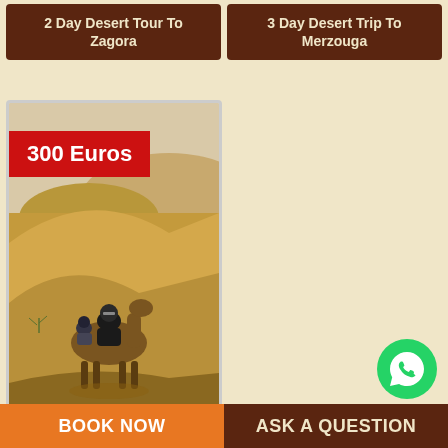2 Day Desert Tour To Zagora
3 Day Desert Trip To Merzouga
300 Euros
[Figure (photo): Woman riding a camel in desert sand dunes with another rider behind, clear sky in background]
3 Day Desert Tour To Fes
BOOK NOW
ASK A QUESTION